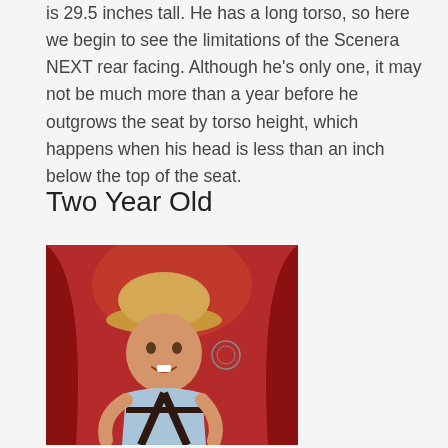is 29.5 inches tall. He has a long torso, so here we begin to see the limitations of the Scenera NEXT rear facing. Although he’s only one, it may not be much more than a year before he outgrows the seat by torso height, which happens when his head is less than an inch below the top of the seat.
Two Year Old
[Figure (photo): A young child wearing a straw hat, sitting in a red car seat with harness straps visible, smiling at the camera.]